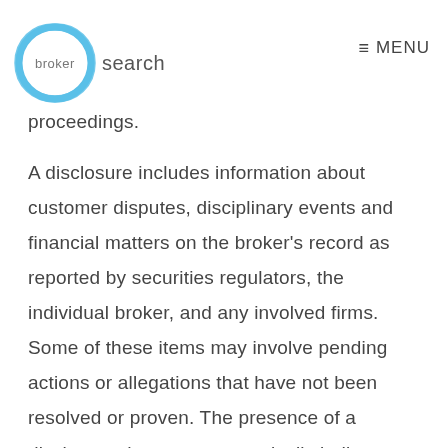broker search | MENU
proceedings.
A disclosure includes information about customer disputes, disciplinary events and financial matters on the broker's record as reported by securities regulators, the individual broker, and any involved firms. Some of these items may involve pending actions or allegations that have not been resolved or proven. The presence of a disclosure does not automatically indicate any wrongdoing.